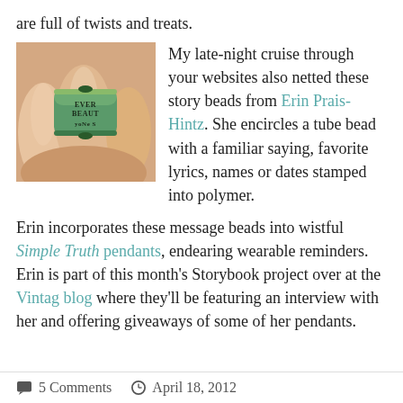are full of twists and treats.
[Figure (photo): Close-up photo of a hand holding a small green cylindrical tube bead with text stamped into it reading 'EVERY BEAUTY yoNe S']
My late-night cruise through your websites also netted these story beads from Erin Prais-Hintz. She encircles a tube bead with a familiar saying, favorite lyrics, names or dates stamped into polymer.
Erin incorporates these message beads into wistful Simple Truth pendants, endearing wearable reminders. Erin is part of this month's Storybook project over at the Vintag blog where they'll be featuring an interview with her and offering giveaways of some of her pendants.
5 Comments   April 18, 2012